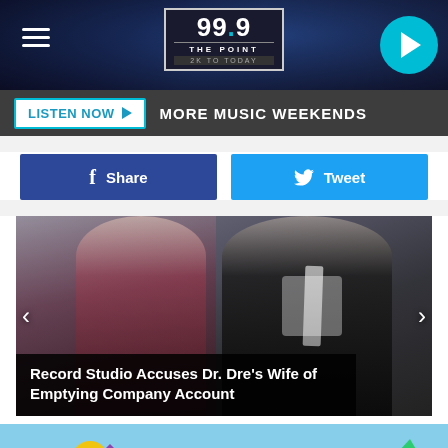99.9 THE POINT — 2K TO TODAY
LISTEN NOW ▶  MORE MUSIC WEEKENDS
f Share   Tweet
[Figure (photo): Two people posing together — a woman in a dark red sequined dress and a man in a black suit with grey tie, at what appears to be a red carpet event. Caption overlay reads: Record Studio Accuses Dr. Dre's Wife of Emptying Company Account]
[Figure (illustration): Partial view of an outdoor illustrated scene with trees, mountains, green circle with face mask icon, blue sky — appears to be a COVID-safety themed graphic]